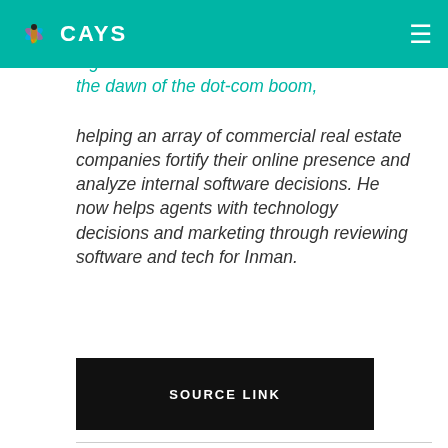CAYS
...blogs have started in commercial real estate at the dawn of the dot-com boom, helping an array of commercial real estate companies fortify their online presence and analyze internal software decisions. He now helps agents with technology decisions and marketing through reviewing software and tech for Inman.
SOURCE LINK
Share: